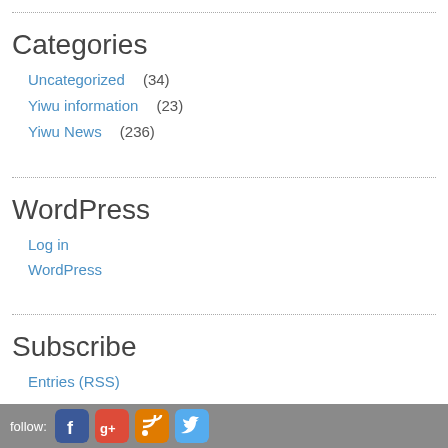Categories
Uncategorized (34)
Yiwu information (23)
Yiwu News (236)
WordPress
Log in
WordPress
Subscribe
Entries (RSS)
follow: [Facebook] [Google+] [RSS] [Twitter]